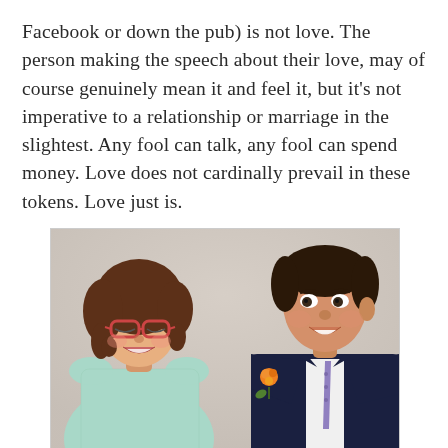Facebook or down the pub) is not love. The person making the speech about their love, may of course genuinely mean it and feel it, but it's not imperative to a relationship or marriage in the slightest. Any fool can talk, any fool can spend money. Love does not cardinally prevail in these tokens. Love just is.
[Figure (photo): A smiling couple at what appears to be a wedding reception. On the left is a woman with curly reddish-brown hair wearing glasses and a light teal/mint lace dress, laughing and looking down. On the right is a man in a dark navy suit with a white shirt and purple tie, wearing an orange flower boutonniere, smiling and looking toward the woman. The background appears to be a decorated venue with floral wallpaper.]